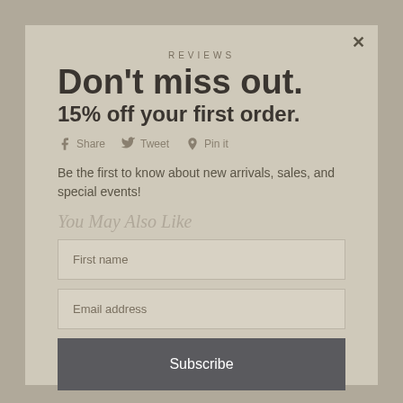REVIEWS
Don't miss out.
15% off your first order.
Share  Tweet  Pin it
Be the first to know about new arrivals, sales, and special events!
You May Also Like
First name
Email address
Subscribe